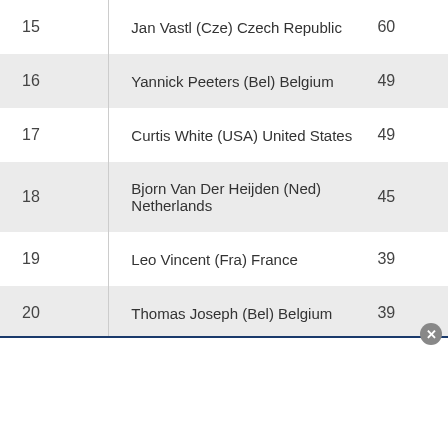| Rank | Name | Points |
| --- | --- | --- |
| 15 | Jan Vastl (Cze) Czech Republic | 60 |
| 16 | Yannick Peeters (Bel) Belgium | 49 |
| 17 | Curtis White (USA) United States | 49 |
| 18 | Bjorn Van Der Heijden (Ned) Netherlands | 45 |
| 19 | Leo Vincent (Fra) France | 39 |
| 20 | Thomas Joseph (Bel) Belgium | 39 |
| 21 | Elie Gesbert (Fra) France | 38 |
| 22 | Thijs Aerts (Bel) Belgium | 35 |
| 23 | Michal Paluta (Pol) Poland | 35 |